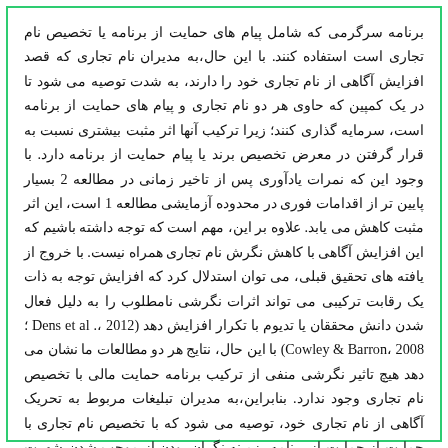برنامه سرگرمی که شامل پیام های حمایت از برنامه یا تخصیص نام تجاری است استفاده کنند. با این حال،به مدیران نام تجاری که قصد افزایش آگاهی از نام تجاری خود را دارند، به شدت توصیه می شود تا در یک کمپین که حاوی هر دو نام تجاری و پیام های حمایت از برنامه است، سرمایه گذاری کنند؛ زیرا ترکیب آنها اثر مثبت بیشتری نسبت به قرار گرفتن در معرض تخصیص برند یا پیام حمایت از برنامه دارد. با وجود این که نمرات یادآوری پس از تاخیر زمانی در مطالعه 2 بسیار پایین تر از اقدامات فوری در محدوده آزمایشی مطالعه 1 است، این اثر مثبت کاهش می یابد. علاوه بر این، مهم است که توجه داشته باشیم که این افزایش آگاهی با کاهش نگرش نام تجاری همراه نیست. با خروج از یافته های تحقیق قبلی، می توان استدلال کرد که افزایش توجه به ذات یک رقابت ترکیبی می تواند اثرات نگرشی نامطلوب را به دلیل فعال شدن دانش محققان یا تدیوم با تکرار افزایش دهد (Dens et al .، 2012 ؛Cowley & Barron، 2008) با این حال، نتایج هر دو مطالعات ما نشان می دهد هیچ تاثیر نگرشی منفی از ترکیب برنامه حمایت مالی با تخصیص نام تجاری وجود ندارد. بنابراین،به مدیران تبلیغات مربوط به تحریک آگاهی از نام تجاری خود، توصیه می شود که با تخصیص نام تجاری با حمایت از برنامه، زمینه نگران بودن از موجب شدن شهرت نام تجاری خود...